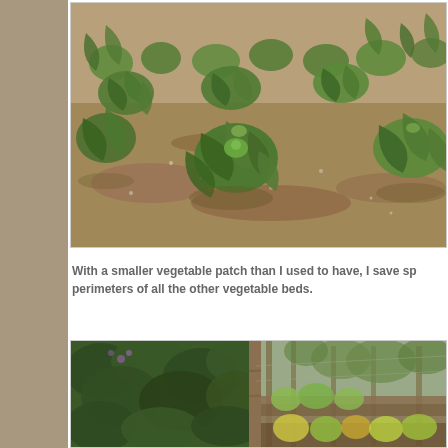[Figure (photo): Overhead view of a vegetable garden patch showing young brassica/cabbage plants with broad green leaves growing in sandy/loamy soil in rows]
With a smaller vegetable patch than I used to have, I save sp perimeters of all the other vegetable beds.
[Figure (photo): Garden view showing raised vegetable beds with various plants, bamboo stakes and netting, lush green foliage]